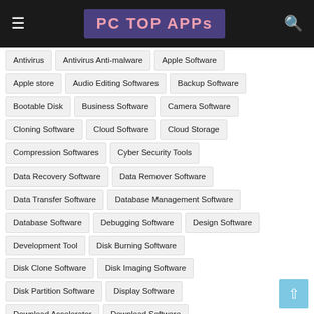PC TOP APPs
Antivirus
Antivirus Anti-malware
Apple Software
Apple store
Audio Editing Softwares
Backup Software
Bootable Disk
Business Software
Camera Software
Cloning Software
Cloud Software
Cloud Storage
Compression Softwares
Cyber Security Tools
Data Recovery Software
Data Remover Software
Data Transfer Software
Database Management Software
Database Software
Debugging Software
Design Software
Development Tool
Disk Burning Software
Disk Clone Software
Disk Imaging Software
Disk Partition Software
Display Software
Download Accelerator
Download Software
Drivers Software
DVD Software
Email Software